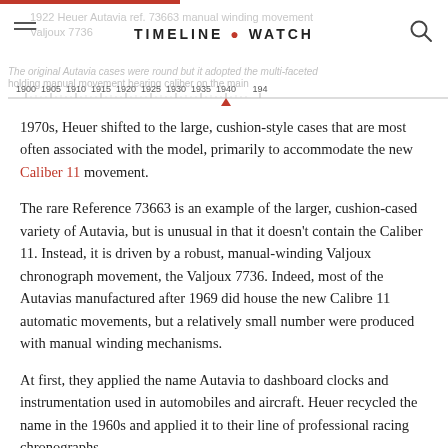TIMELINE • WATCH
[Figure (other): Horizontal timeline ruler showing years from 1900 to 1940+ with tick marks and a red marker around 1940]
1970s, Heuer shifted to the large, cushion-style cases that are most often associated with the model, primarily to accommodate the new Caliber 11 movement.
The rare Reference 73663 is an example of the larger, cushion-cased variety of Autavia, but is unusual in that it doesn't contain the Caliber 11. Instead, it is driven by a robust, manual-winding Valjoux chronograph movement, the Valjoux 7736. Indeed, most of the Autavias manufactured after 1969 did house the new Calibre 11 automatic movements, but a relatively small number were produced with manual winding mechanisms.
At first, they applied the name Autavia to dashboard clocks and instrumentation used in automobiles and aircraft. Heuer recycled the name in the 1960s and applied it to their line of professional racing chronographs.
The name Autavia comes from a combination of two words: